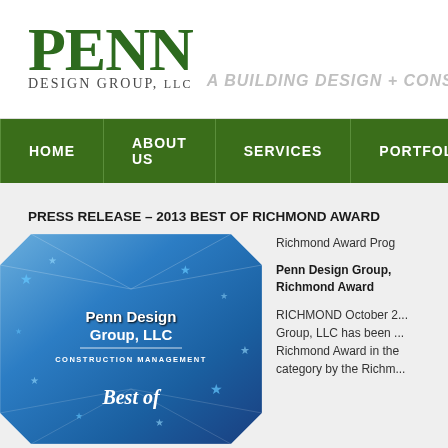[Figure (logo): Penn Design Group LLC logo with green text and tagline 'A BUILDING DESIGN + CONSTR...']
HOME | ABOUT US | SERVICES | PORTFOLIO
PRESS RELEASE – 2013 BEST OF RICHMOND AWARD
[Figure (photo): Blue crystal award trophy with stars showing Penn Design Group LLC Construction Management and Best of text]
Richmond Award Prog...
Penn Design Group, ... Richmond Award
RICHMOND October 2... Group, LLC has been ... Richmond Award in the... category by the Richm...